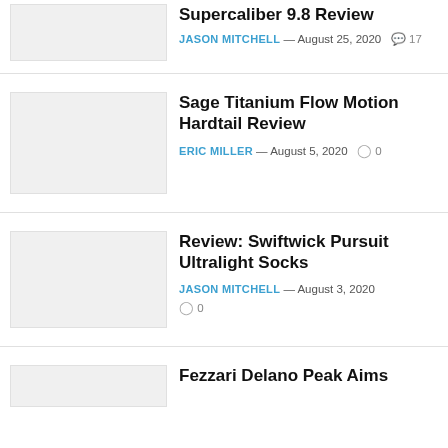Supercaliber 9.8 Review
JASON MITCHELL — August 25, 2020  💬 17
Sage Titanium Flow Motion Hardtail Review
ERIC MILLER — August 5, 2020  💬 0
Review: Swiftwick Pursuit Ultralight Socks
JASON MITCHELL — August 3, 2020  💬 0
Fezzari Delano Peak Aims